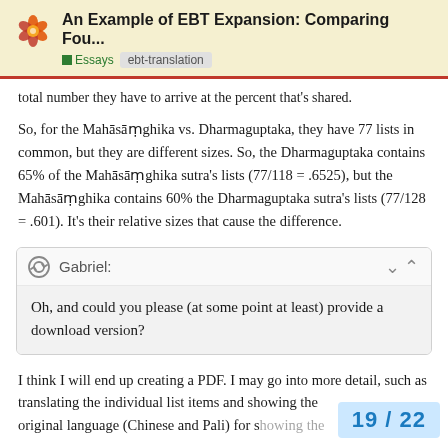An Example of EBT Expansion: Comparing Fou... | Essays | ebt-translation
total number they have to arrive at the percent that's shared.
So, for the Mahāsāṃghika vs. Dharmaguptaka, they have 77 lists in common, but they are different sizes. So, the Dharmaguptaka contains 65% of the Mahāsāṃghika sutra's lists (77/118 = .6525), but the Mahāsāṃghika contains 60% the Dharmaguptaka sutra's lists (77/128 = .601). It's their relative sizes that cause the difference.
Gabriel: Oh, and could you please (at some point at least) provide a download version?
I think I will end up creating a PDF. I may go into more detail, such as translating the individual list items and showing the original language (Chinese and Pali) for s
19 / 22